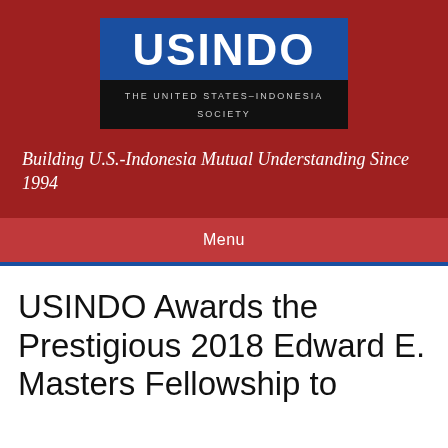[Figure (logo): USINDO - The United States-Indonesia Society logo with blue background for lettering and black bar with subtitle]
Building U.S.-Indonesia Mutual Understanding Since 1994
Menu
USINDO Awards the Prestigious 2018 Edward E. Masters Fellowship to